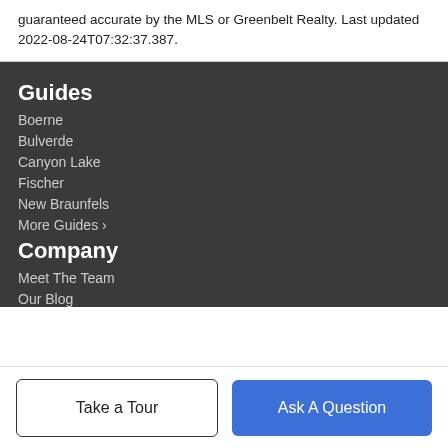guaranteed accurate by the MLS or Greenbelt Realty. Last updated 2022-08-24T07:32:37.387.
Guides
Boerne
Bulverde
Canyon Lake
Fischer
New Braunfels
More Guides >
Company
Meet The Team
Our Blog
Take a Tour | Ask A Question